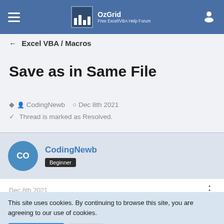OzGrid - Free Excel/VBA Help Forum
← Excel VBA / Macros
Save as in Same File
CodingNewb  Dec 8th 2021
Thread is marked as Resolved.
CodingNewb
Beginner
Dec 8th 2021
This site uses cookies. By continuing to browse this site, you are agreeing to our use of cookies.
More Details  Close